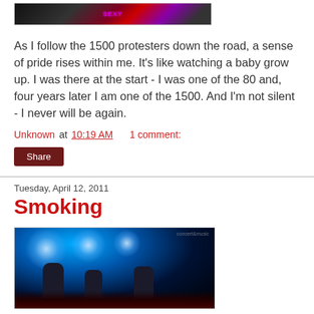[Figure (photo): Cropped image of protest or concert scene with dark background and colorful text overlay including 'SEXY']
As I follow the 1500 protesters down the road, a sense of pride rises within me. It's like watching a baby grow up. I was there at the start - I was one of the 80 and, four years later I am one of the 1500. And I'm not silent - I never will be again.
Unknown at 10:19 AM     1 comment:
Share
Tuesday, April 12, 2011
Smoking
[Figure (photo): Concert photo showing band performing on stage with blue stage lighting, musicians with guitars, dark background with red-toned floor area]